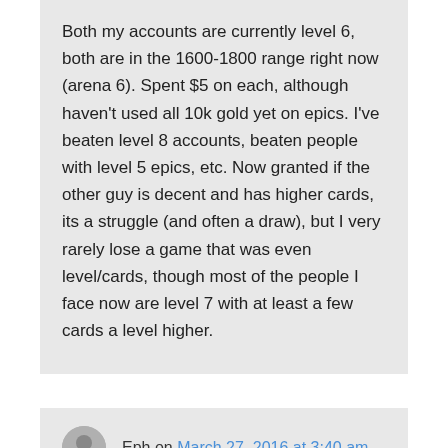Both my accounts are currently level 6, both are in the 1600-1800 range right now (arena 6). Spent $5 on each, although haven't used all 10k gold yet on epics. I've beaten level 8 accounts, beaten people with level 5 epics, etc. Now granted if the other guy is decent and has higher cards, its a struggle (and often a draw), but I very rarely lose a game that was even level/cards, though most of the people I face now are level 7 with at least a few cards a level higher.
Eph on March 27, 2016 at 3:40 am